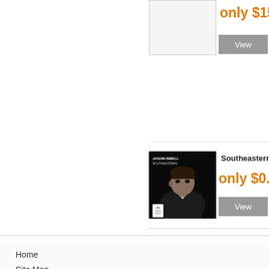[Figure (photo): Blank/white product image placeholder at top]
only $15
View
[Figure (photo): Album cover for Jason Isbell - Southeastern, showing man in dark jacket against black background]
Southeastern
only $0.0
View
Home
Site Map